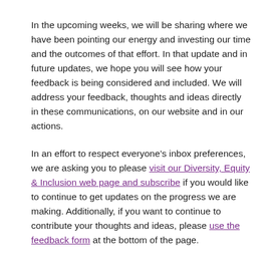In the upcoming weeks, we will be sharing where we have been pointing our energy and investing our time and the outcomes of that effort. In that update and in future updates, we hope you will see how your feedback is being considered and included. We will address your feedback, thoughts and ideas directly in these communications, on our website and in our actions.
In an effort to respect everyone's inbox preferences, we are asking you to please visit our Diversity, Equity & Inclusion web page and subscribe if you would like to continue to get updates on the progress we are making. Additionally, if you want to continue to contribute your thoughts and ideas, please use the feedback form at the bottom of the page.